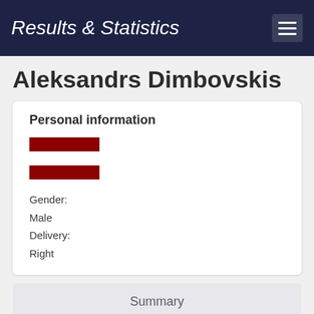Results & Statistics
Aleksandrs Dimbovskis
Personal information
[Figure (illustration): Latvian national flag — three horizontal stripes: dark red, white, dark red]
Gender:
Male
Delivery:
Right
Summary
Details